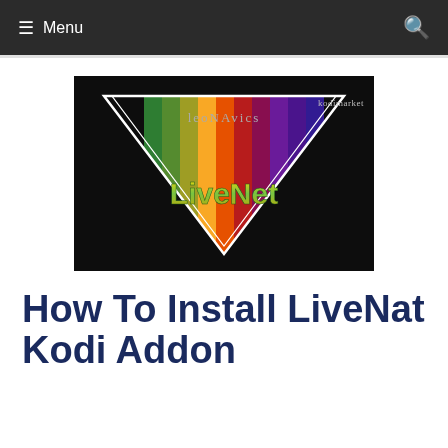Menu
[Figure (screenshot): LiveNet logo: inverted triangle with colorful vertical stripes (green, yellow, orange, red, purple) inside, 'LiveNet' text in gold/green gradient at center, 'leoNAvics' text at top inside triangle, 'kodimarket' watermark at top right. Dark background.]
How To Install LiveNat Kodi Addon